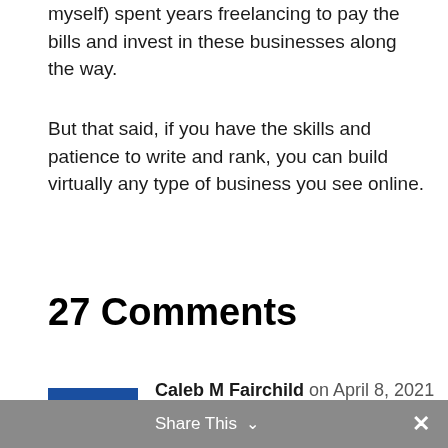myself) spent years freelancing to pay the bills and invest in these businesses along the way.
But that said, if you have the skills and patience to write and rank, you can build virtually any type of business you see online.
27 Comments
Caleb M Fairchild on April 8, 2021
at 10:3Share This ∨
[Figure (illustration): Blue power button icon avatar for commenter Caleb M Fairchild]
Share This ∨  ✕